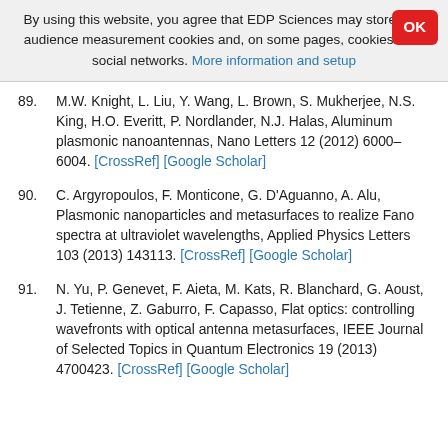By using this website, you agree that EDP Sciences may store web audience measurement cookies and, on some pages, cookies from social networks. More information and setup
89. M.W. Knight, L. Liu, Y. Wang, L. Brown, S. Mukherjee, N.S. King, H.O. Everitt, P. Nordlander, N.J. Halas, Aluminum plasmonic nanoantennas, Nano Letters 12 (2012) 6000–6004. [CrossRef] [Google Scholar]
90. C. Argyropoulos, F. Monticone, G. D'Aguanno, A. Alu, Plasmonic nanoparticles and metasurfaces to realize Fano spectra at ultraviolet wavelengths, Applied Physics Letters 103 (2013) 143113. [CrossRef] [Google Scholar]
91. N. Yu, P. Genevet, F. Aieta, M. Kats, R. Blanchard, G. Aoust, J. Tetienne, Z. Gaburro, F. Capasso, Flat optics: controlling wavefronts with optical antenna metasurfaces, IEEE Journal of Selected Topics in Quantum Electronics 19 (2013) 4700423. [CrossRef] [Google Scholar]